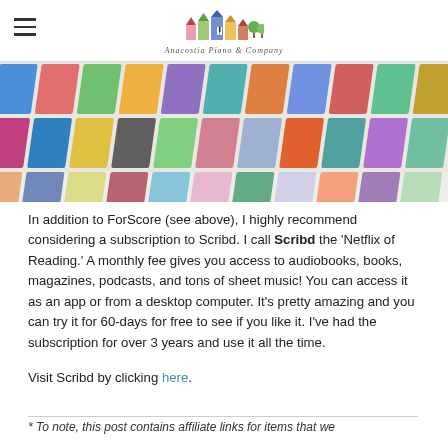Anacostia Piano & Company
[Figure (photo): Grid of colorful book and magazine covers arranged in rows, photographed at an angle, representing content available on Scribd.]
In addition to ForScore (see above), I highly recommend considering a subscription to Scribd. I call Scribd the 'Netflix of Reading.' A monthly fee gives you access to audiobooks, books, magazines, podcasts, and tons of sheet music! You can access it as an app or from a desktop computer. It's pretty amazing and you can try it for 60-days for free to see if you like it. I've had the subscription for over 3 years and use it all the time.
Visit Scribd by clicking here.
* To note, this post contains affiliate links for items that we